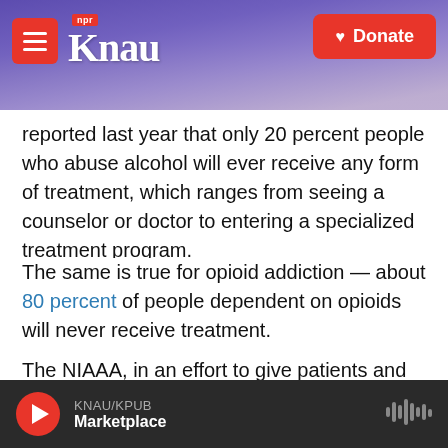KNAU NPR — Donate
reported last year that only 20 percent people who abuse alcohol will ever receive any form of treatment, which ranges from seeing a counselor or doctor to entering a specialized treatment program.
The same is true for opioid addiction – about 80 percent of people dependent on opioids will never receive treatment.
The NIAAA, in an effort to give patients and doctors more choices, has launched programs to develop medications and support drug trials. NIAAA and the Substance Abuse and Mental Health Services
KNAU/KPUB Marketplace